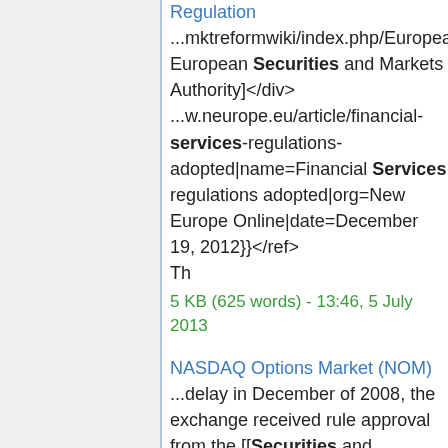Regulation
...mktreformwiki/index.php/European_Securities European Securities and Markets Authority]</div>
...w.neurope.eu/article/financial-services-regulations-adopted|name=Financial Services regulations adopted|org=New Europe Online|date=December 19, 2012}}</ref>
Th
5 KB (625 words) - 13:46, 5 July 2013
NASDAQ Options Market (NOM)
...delay in December of 2008, the exchange received rule approval from the [[Securities and Exchange Commission]] in mid-March of 2008. <ref>{{cite web|name="NASDA ...ket announced it would implement new pricing, subject to filing with the [[Securities and Excha